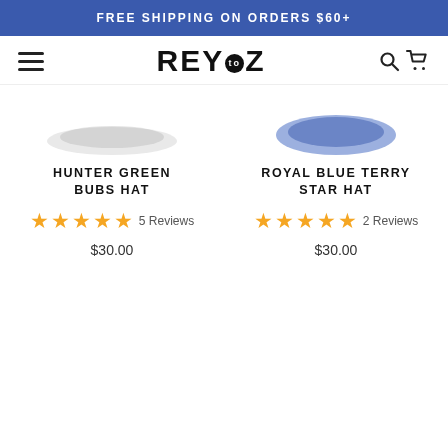FREE SHIPPING ON ORDERS $60+
[Figure (logo): REY to Z logo with hamburger menu, search and cart icons]
[Figure (photo): Hunter Green Bubs Hat product image - hat brim visible from below]
HUNTER GREEN BUBS HAT
5 Reviews
$30.00
[Figure (photo): Royal Blue Terry Star Hat product image - hat brim visible from below]
ROYAL BLUE TERRY STAR HAT
2 Reviews
$30.00